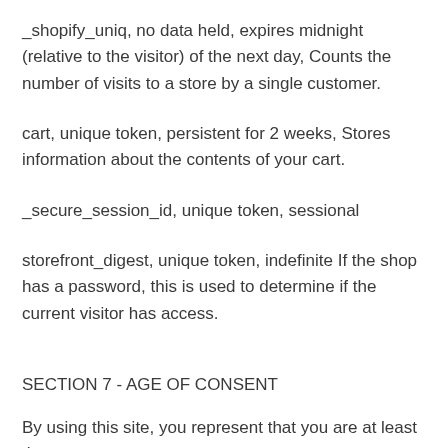_shopify_uniq, no data held, expires midnight (relative to the visitor) of the next day, Counts the number of visits to a store by a single customer.
cart, unique token, persistent for 2 weeks, Stores information about the contents of your cart.
_secure_session_id, unique token, sessional
storefront_digest, unique token, indefinite If the shop has a password, this is used to determine if the current visitor has access.
SECTION 7 - AGE OF CONSENT
By using this site, you represent that you are at least the age